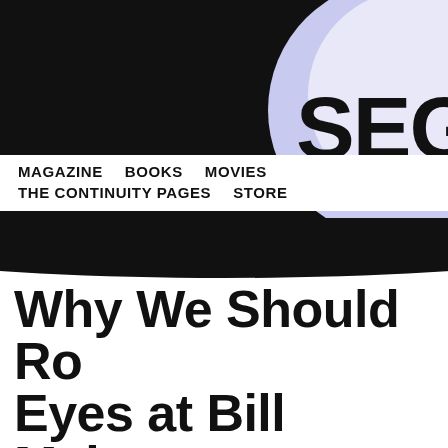[Figure (logo): Website header with black background and partial circular logo with lavender/purple accent and 'SEG' text and 'ORGA' text visible at top right]
MAGAZINE   BOOKS   MOVIES   THE CONTINUITY PAGES   STORE
Why We Should Roll Our Eyes at Bill Maher
by Rick Horner | in Editorials | Mon, 3 December 2018
As a group, we comic book fans have certainly had to take a